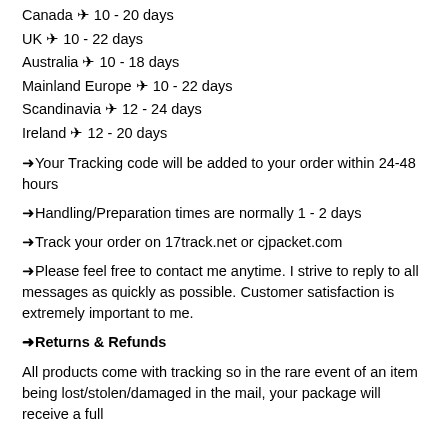Canada ✈ 10 - 20 days
UK ✈ 10 - 22 days
Australia ✈ 10 - 18 days
Mainland Europe ✈ 10 - 22 days
Scandinavia ✈ 12 - 24 days
Ireland ✈ 12 - 20 days
➡Your Tracking code will be added to your order within 24-48 hours
➡Handling/Preparation times are normally 1 - 2 days
➡Track your order on 17track.net or cjpacket.com
➡Please feel free to contact me anytime. I strive to reply to all messages as quickly as possible. Customer satisfaction is extremely important to me.
➡Returns & Refunds
All products come with tracking so in the rare event of an item being lost/stolen/damaged in the mail, your package will receive a full...